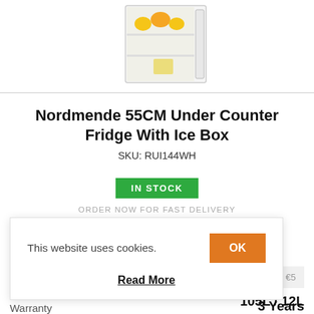[Figure (photo): Partial view of an open under-counter fridge with fruits (lemons/oranges) visible inside on shelves.]
Nordmende 55CM Under Counter Fridge With Ice Box
SKU: RUI144WH
IN STOCK
ORDER NOW FOR FAST DELIVERY
€259.00
This website uses cookies.
OK
Read More
ing costs of €5
105L / 12L
Warranty
3 Years